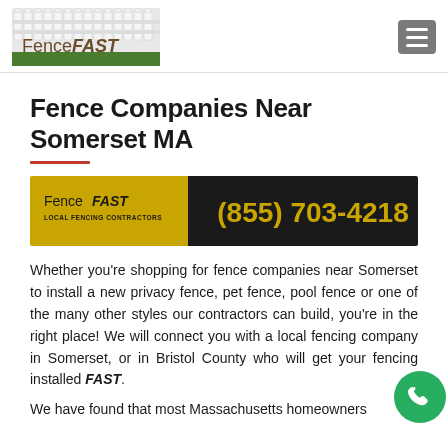[Figure (logo): Fence FAST logo with white picket fence graphic and green grass strip at bottom]
[Figure (infographic): Hamburger menu icon button (three horizontal white lines on grey background)]
Fence Companies Near Somerset MA
[Figure (infographic): Fence FAST call banner with gold left section showing 'Fence FAST LOCAL FENCING CONTRACTORS' and black right section showing phone number (855) 703-4218 in gold text]
Whether you’re shopping for fence companies near Somerset to install a new privacy fence, pet fence, pool fence or one of the many other styles our contractors can build, you’re in the right place! We will connect you with a local fencing company in Somerset, or in Bristol County who will get your fencing installed FAST.
We have found that most Massachusetts homeowners